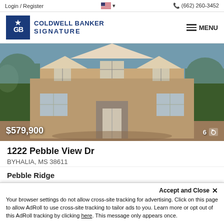Login / Register  🇺🇸 ▾   📞 (662) 260-3452
[Figure (logo): Coldwell Banker Signature logo — blue square with GB star emblem, text COLDWELL BANKER SIGNATURE]
≡ MENU
[Figure (photo): Exterior photo of a large brick house with multiple gabled dormers, white-trimmed windows, a covered front entry, surrounded by trees and landscaping. Price overlay: $579,900. Photo count: 6.]
1222 Pebble View Dr
BYHALIA, MS 38611
Pebble Ridge
Accept and Close ✕
Your browser settings do not allow cross-site tracking for advertising. Click on this page to allow AdRoll to use cross-site tracking to tailor ads to you. Learn more or opt out of this AdRoll tracking by clicking here. This message only appears once.